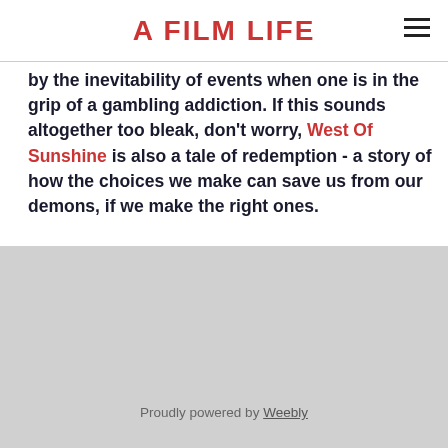A FILM LIFE
by the inevitability of events when one is in the grip of a gambling addiction. If this sounds altogether too bleak, don't worry, West Of Sunshine is also a tale of redemption - a story of how the choices we make can save us from our demons, if we make the right ones.
Proudly powered by Weebly